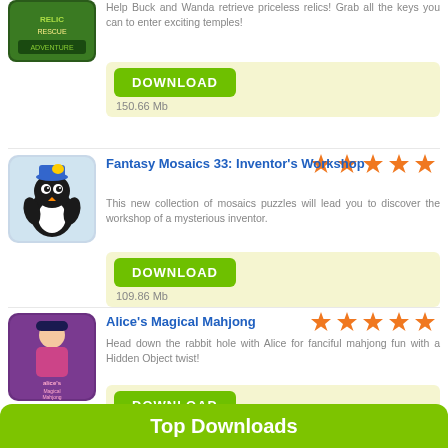Help Buck and Wanda retrieve priceless relics! Grab all the keys you can to enter exciting temples!
DOWNLOAD
150.66 Mb
Fantasy Mosaics 33: Inventor's Workshop
This new collection of mosaics puzzles will lead you to discover the workshop of a mysterious inventor.
DOWNLOAD
109.86 Mb
Alice's Magical Mahjong
Head down the rabbit hole with Alice for fanciful mahjong fun with a Hidden Object twist!
DOWNLOAD
53.56 Mb
Top Downloads